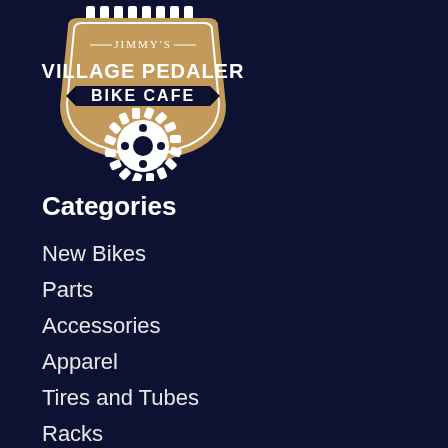[Figure (logo): Jimmy's Village Pedaler Bike Cafe logo — vintage shield/badge shape with tan/brown background, white text, and gear/sprocket imagery at bottom]
Categories
New Bikes
Parts
Accessories
Apparel
Tires and Tubes
Racks
Tools
Lube / Degreaser
Maintenance